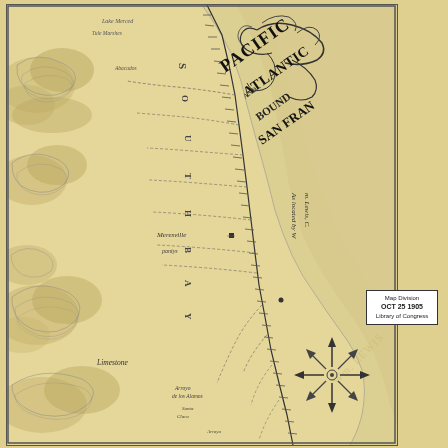[Figure (map): Historical map showing the Pacific and Atlantic Railroad route located by Wm. Lewis, from San Francisco area. Shows topography with hills/mountains on the left (west), a central valley with a railroad line, and a bay/water body on the right. Towns labeled include Meresville, Haywards, Limestone. Compass rose shown in lower right area of map. Decorative title cartouche with ornate scrollwork in upper center-right reading 'PACIFIC ATLANTIC BOUND SAN FRANCISCO'. Text note reads 'As located by Wm. Lewis, C...' Library of Congress Map Division stamp: OCT 25 1905.]